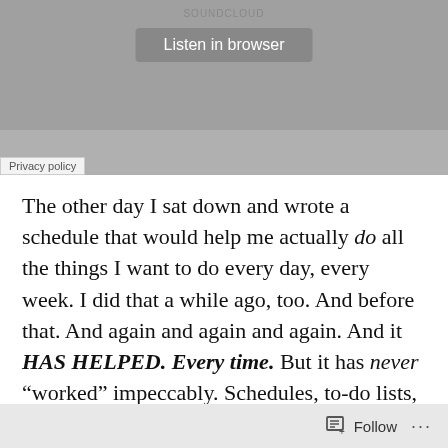[Figure (screenshot): SoundCloud embedded audio player widget showing 'Listen in browser' button and 'Privacy policy' link on a grey background]
The other day I sat down and wrote a schedule that would help me actually do all the things I want to do every day, every week. I did that a while ago, too. And before that. And again and again and again. And it HAS HELPED. Every time. But it has never “worked” impeccably. Schedules, to-do lists, planning sessions–they’ve never guaranteed lasting consistency in my life. I’ve had to keep trying again.
Like in meditation, where you keep wandering,